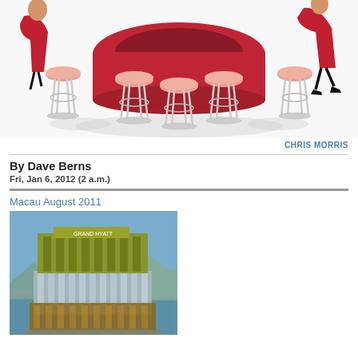[Figure (illustration): Illustration of bar stools arranged around a circular bar counter, with stylized figures of people sitting on stools. Red circular bar counter in center, white metal bar stools with pale orange/peach seats, figures in red and black.]
CHRIS MORRIS
By Dave Berns
Fri, Jan 6, 2012 (2 a.m.)
Macau August 2011
[Figure (photo): Photograph of a large modern building in Macau with golden/yellow-green metallic upper facade and glass lower sections, situated near water with mountains in background.]